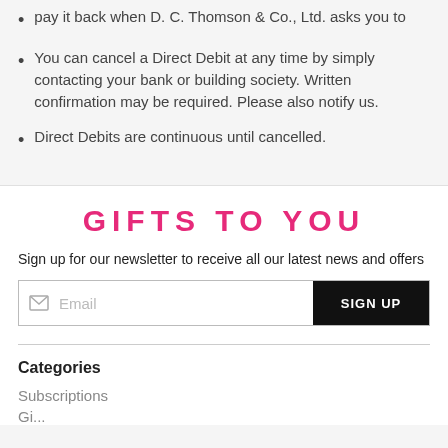pay it back when D. C. Thomson & Co., Ltd. asks you to
You can cancel a Direct Debit at any time by simply contacting your bank or building society. Written confirmation may be required. Please also notify us.
Direct Debits are continuous until cancelled.
GIFTS TO YOU
Sign up for our newsletter to receive all our latest news and offers
Email
SIGN UP
Categories
Subscriptions